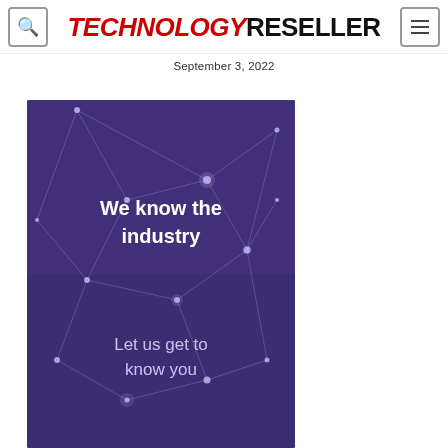TECHNOLOGY RESELLER
September 3, 2022
[Figure (illustration): Dark purple background with network node/line pattern. Text reads 'We know the industry' and 'Let us get to know you' in white.]